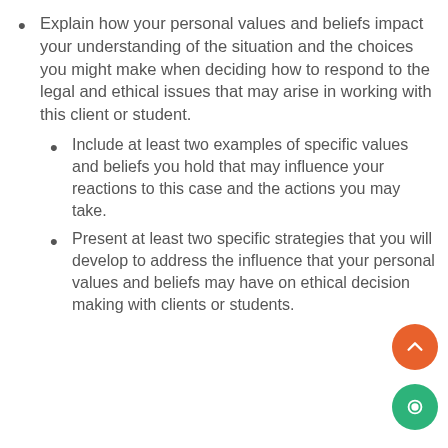Explain how your personal values and beliefs impact your understanding of the situation and the choices you might make when deciding how to respond to the legal and ethical issues that may arise in working with this client or student.
Include at least two examples of specific values and beliefs you hold that may influence your reactions to this case and the actions you may take.
Present at least two specific strategies that you will develop to address the influence that your personal values and beliefs may have on ethical decision making with clients or students.